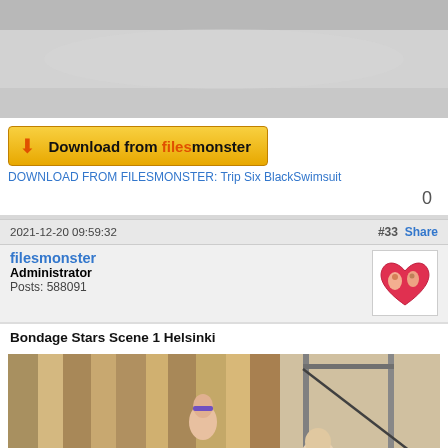[Figure (photo): Top portion of a photo showing a person on a bed with light-colored sheets]
[Figure (other): Download from Filesmonster button - yellow/orange gradient button with arrow icon]
DOWNLOAD FROM FILESMONSTER: Trip Six BlackSwimsuit
0
2021-12-20 09:59:32
#33  Share
filesmonster
Administrator
Posts: 588091
[Figure (photo): Forum user avatar - heart shape with illustrated figures]
Bondage Stars Scene 1 Helsinki
[Figure (photo): Photo showing two people in a room with curtains and lighting equipment/stands]